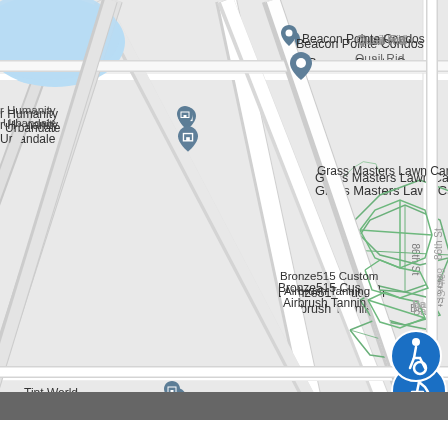[Figure (map): Google Maps screenshot showing a neighborhood in Urbandale/Iowa area. Visible locations include Beacon Pointe Condos, Grass Masters Lawn Care, Bronze515 Custom Airbrush Tanning, Salon Classique, Tint World, to's Lounge, Hy-Vee Fast & Fresh, Wendy's, StorageMart, Nate's, Quail Rid, Habitat for Humanity Urbandale. Street labels include 100th St, 86th St (vertical), Patricia Dr. Blue water body in upper left. Green parcel outlines in right portion. Accessibility icon (wheelchair) in lower right. Gray bar at very bottom.]